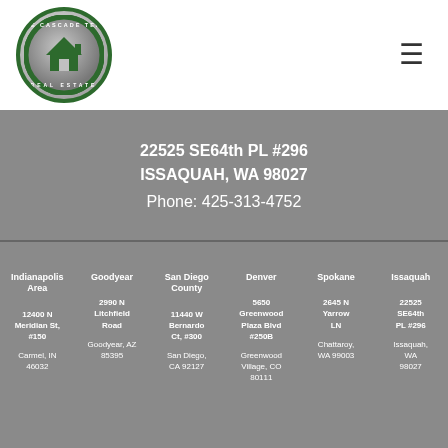[Figure (logo): The Cascade Team Real Estate circular logo with green border]
22525 SE64th PL #296
ISSAQUAH, WA 98027
Phone: 425-313-4752
Indianapolis Area
12400 N Meridian St, #150
Carmel, IN 46032
Goodyear
2990 N Litchfield Road
Goodyear, AZ 85395
San Diego County
11440 W Bernardo Ct, #300
San Diego, CA 92127
Denver
5650 Greenwood Plaza Blvd #250B
Greenwood Village, CO 80111
Spokane
2645 N Yarrow LN
Chattaroy, WA 99003
Issaquah
22525 SE64th PL #296
Issaquah, WA 98027